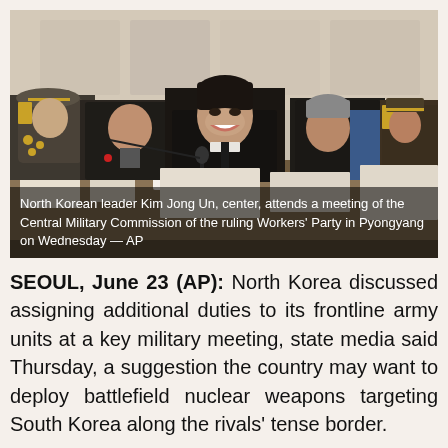[Figure (photo): North Korean leader Kim Jong Un, center, laughing and seated at a conference table with military officials and party members at what appears to be a formal meeting in Pyongyang.]
North Korean leader Kim Jong Un, center, attends a meeting of the Central Military Commission of the ruling Workers' Party in Pyongyang on Wednesday — AP
SEOUL, June 23 (AP): North Korea discussed assigning additional duties to its frontline army units at a key military meeting, state media said Thursday, a suggestion the country may want to deploy battlefield nuclear weapons targeting South Korea along the rivals' tense border.